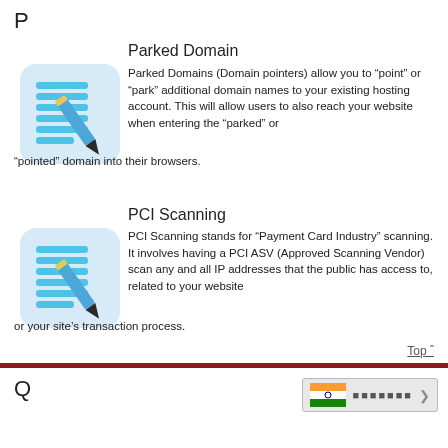P
Parked Domain
Parked Domains (Domain pointers) allow you to “point” or “park” additional domain names to your existing hosting account. This will allow users to also reach your website when entering the “parked” or “pointed” domain into their browsers.
PCI Scanning
PCI Scanning stands for “Payment Card Industry” scanning. It involves having a PCI ASV (Approved Scanning Vendor) scan any and all IP addresses that the public has access to, related to your website or your site’s transaction process.
Top ˆ
Q